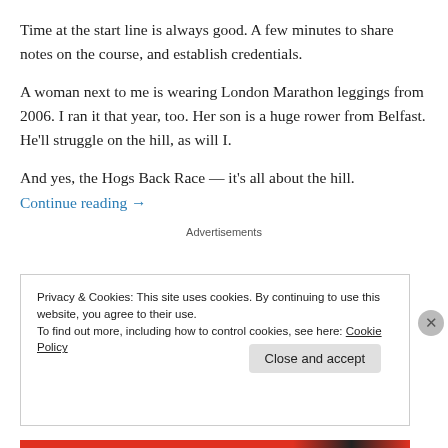Time at the start line is always good. A few minutes to share notes on the course, and establish credentials.
A woman next to me is wearing London Marathon leggings from 2006. I ran it that year, too. Her son is a huge rower from Belfast. He'll struggle on the hill, as will I.
And yes, the Hogs Back Race — it's all about the hill.
Continue reading →
Advertisements
Privacy & Cookies: This site uses cookies. By continuing to use this website, you agree to their use.
To find out more, including how to control cookies, see here: Cookie Policy
Close and accept